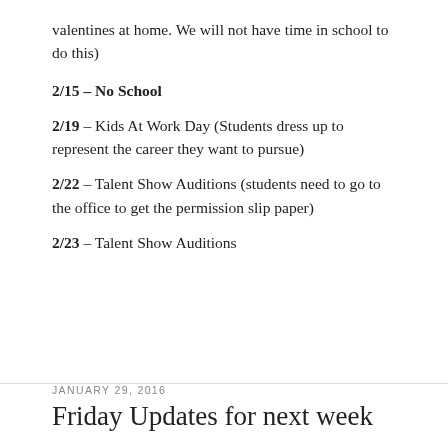valentines at home. We will not have time in school to do this)
2/15 – No School
2/19 – Kids At Work Day (Students dress up to represent the career they want to pursue)
2/22 – Talent Show Auditions (students need to go to the office to get the permission slip paper)
2/23 – Talent Show Auditions
JANUARY 29, 2016
Friday Updates for next week